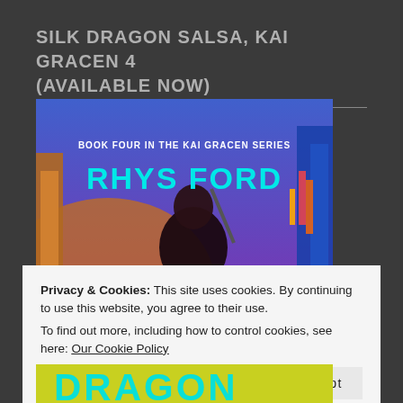SILK DRAGON SALSA, KAI GRACEN 4 (AVAILABLE NOW)
[Figure (illustration): Book cover for 'Silk Dragon Salsa' (Book Four in the Kai Gracen Series) by Rhys Ford. Shows a dark-haired person in a neon-lit urban environment. Text on cover reads 'BOOK FOUR IN THE KAI GRACEN SERIES' and 'RHYS FORD' in large cyan letters.]
Privacy & Cookies: This site uses cookies. By continuing to use this website, you agree to their use.
To find out more, including how to control cookies, see here: Our Cookie Policy
Close and accept
[Figure (illustration): Bottom strip of a book cover showing partial cyan stylized lettering spelling 'DRAGON' against a yellow/green background.]